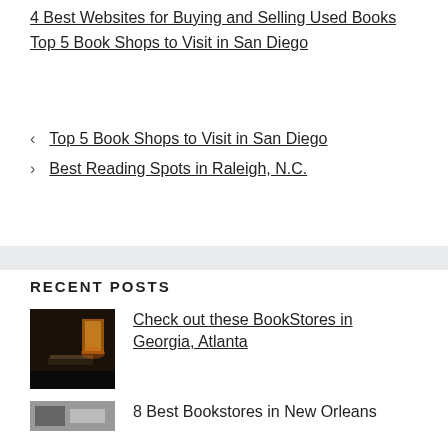4 Best Websites for Buying and Selling Used Books
Top 5 Book Shops to Visit in San Diego
< Top 5 Book Shops to Visit in San Diego
> Best Reading Spots in Raleigh, N.C.
RECENT POSTS
Check out these BookStores in Georgia, Atlanta
8 Best Bookstores in New Orleans